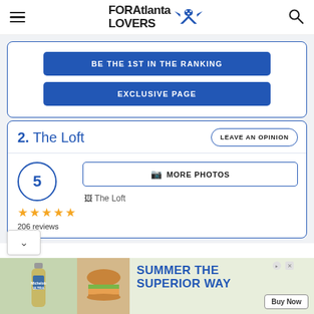FOR Atlanta LOVERS
BE THE 1ST IN THE RANKING
EXCLUSIVE PAGE
2. The Loft
LEAVE AN OPINION
5  ★★★★★  206 reviews
MORE PHOTOS
The Loft
[Figure (screenshot): Advertisement banner: Michelob Ultra bottle on left, burger image, text SUMMER THE SUPERIOR WAY in blue, Buy Now button on right.]